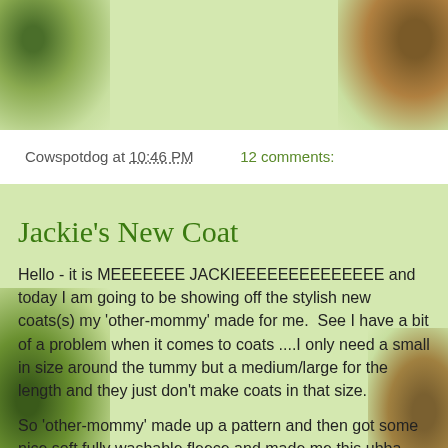Cowspotdog at 10:46 PM   12 comments:
Jackie's New Coat
Hello - it is MEEEEEEE JACKIEEEEEEEEEEEEEE and today I am going to be showing off the stylish new coats(s) my 'other-mommy' made for me.  See I have a bit of a problem when it comes to coats ....I only need a small in size around the tummy but a medium/large for the length and they just don't make coats in that size.
So 'other-mommy' made up a pattern and then got some nice soft fully washable fleece and made me this ubba cool reversible coat. I can wear it either with the Big Red Dogs on the outside for when I am feeling my "BIG don't mess with me self" or I can wear it on the Sock Monkey side for when I feeling more cuddly...not to forget to mention. This